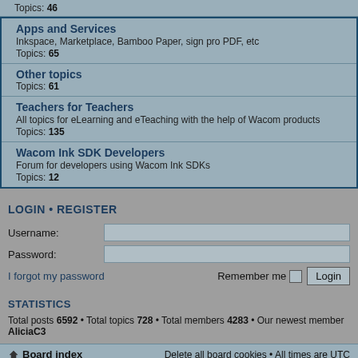Topics: 46
Apps and Services
Inkspace, Marketplace, Bamboo Paper, sign pro PDF, etc
Topics: 65
Other topics
Topics: 61
Teachers for Teachers
All topics for eLearning and eTeaching with the help of Wacom products
Topics: 135
Wacom Ink SDK Developers
Forum for developers using Wacom Ink SDKs
Topics: 12
LOGIN • REGISTER
Username:
Password:
I forgot my password
Remember me
STATISTICS
Total posts 6592 • Total topics 728 • Total members 4283 • Our newest member AliciaC3
Board index
Delete all board cookies • All times are UTC
Copyright © 2018 Wacom Europe GmbH. All Rights Reserved. All other trademarks are the property of their respective owners and are used with their permission. Modifications and errors excepted.
Wacom.com | Privacy Policy | Terms of use | Cookie notice | Imprint
Cookie Preferences